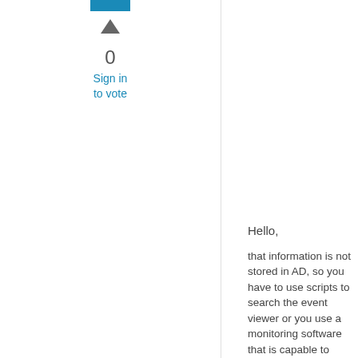[Figure (other): Blue bar at top of vote widget]
[Figure (other): Up arrow triangle icon for voting]
0
Sign in
to vote
Hello,
that information is not stored in AD, so you have to use scripts to search the event viewer or you use a monitoring software that is capable to collect this information central like SCOM: http://www.microsoft.com/systemcenter/en/us/operations-manager.aspx
Best regards Meinolf Weber Disclaimer: This posting is provided "AS IS" with no warranties or guarantees , and